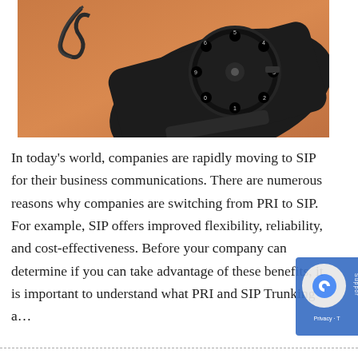[Figure (photo): Black vintage rotary dial telephone on a wooden surface, viewed from above at an angle showing the rotary dial with numbers 0-9.]
In today’s world, companies are rapidly moving to SIP for their business communications. There are numerous reasons why companies are switching from PRI to SIP. For example, SIP offers improved flexibility, reliability, and cost-effectiveness. Before your company can determine if you can take advantage of these benefits, it is important to understand what PRI and SIP Trunking a…